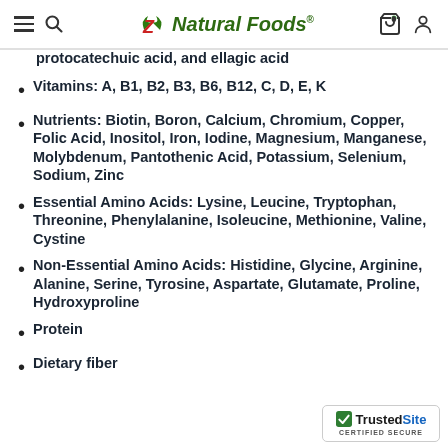Z Natural Foods
protocatechuic acid, and ellagic acid
Vitamins: A, B1, B2, B3, B6, B12, C, D, E, K
Nutrients: Biotin, Boron, Calcium, Chromium, Copper, Folic Acid, Inositol, Iron, Iodine, Magnesium, Manganese, Molybdenum, Pantothenic Acid, Potassium, Selenium, Sodium, Zinc
Essential Amino Acids: Lysine, Leucine, Tryptophan, Threonine, Phenylalanine, Isoleucine, Methionine, Valine, Cystine
Non-Essential Amino Acids: Histidine, Glycine, Arginine, Alanine, Serine, Tyrosine, Aspartate, Glutamate, Proline, Hydroxyproline
Protein
Dietary fiber